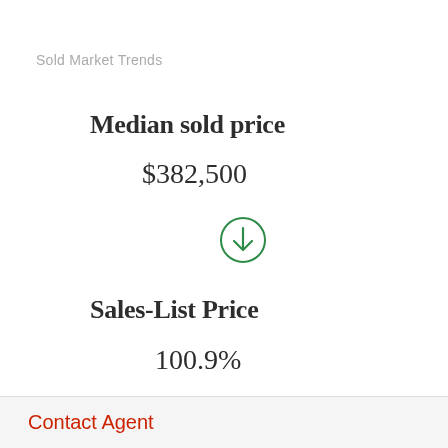Sold Market Trends
Median sold price
$382,500
[Figure (other): Green circle with downward arrow icon indicating a decrease]
Sales-List Price
100.9%
[Figure (other): Green circle with downward arrow icon indicating a decrease]
Contact Agent